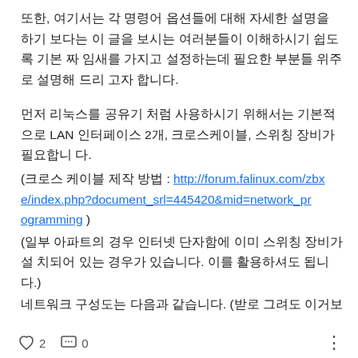또한, 여기서는 각 명령어 옵션들에 대해 자세한 설명을 하기보다는 이 글을 보시는 여러분들이 이해하시기 쉽도록 기본 짜임새를 가지고 설정하는데 필요한 부분들 위주로 설명해 드리고자 합니다.
먼저 리눅스를 공유기 처럼 사용하시기 위해서는 기본적으로 LAN 인터페이스 2개, 크로스케이블, 스위칭 장비가 필요합니다.
(크로스 케이블 제작 방법 : http://forum.falinux.com/zbxe/index.php?document_srl=445420&mid=network_programming )
(일부 아파트의 경우 인터넷 단자함에 이미 스위칭 장비가 설치되어 있는 경우가 있습니다. 이를 활용하셔도 됩니다.)
네트워크 구성도는 다음과 같습니다. (받로 그려도 이거보다
♡ 2   💬 0   ···